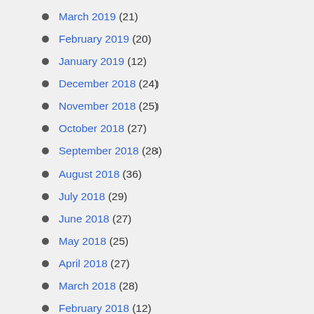March 2019 (21)
February 2019 (20)
January 2019 (12)
December 2018 (24)
November 2018 (25)
October 2018 (27)
September 2018 (28)
August 2018 (36)
July 2018 (29)
June 2018 (27)
May 2018 (25)
April 2018 (27)
March 2018 (28)
February 2018 (12)
January 2018 (22)
December 2017 (24)
November 2017 (18)
October 2017 (16)